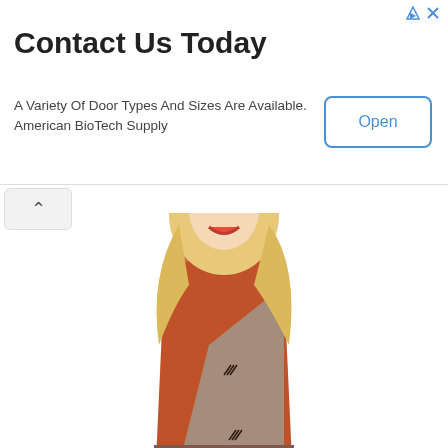[Figure (infographic): Advertisement banner with triangle and X icons in top right corner, 'Contact Us Today' title, body text, and blue-bordered 'Open' button]
Contact Us Today
A Variety Of Door Types And Sizes Are Available. American BioTech Supply
[Figure (photo): A smiling blonde woman wearing a rust-orange and taupe/brown color-block tank top with a hood and small decorative stitching details, paired with dark blue jeans. She is holding the hem of the shirt and looking at the camera.]